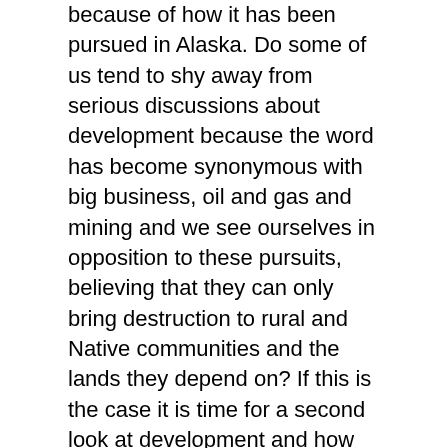because of how it has been pursued in Alaska. Do some of us tend to shy away from serious discussions about development because the word has become synonymous with big business, oil and gas and mining and we see ourselves in opposition to these pursuits, believing that they can only bring destruction to rural and Native communities and the lands they depend on? If this is the case it is time for a second look at development and how we approach it because history shows us that development in one form or another has been with us since the dawn of time. It will affect us no matter what we do so if we can control those effects we will be much better off. We cannot expect to control them if we do not participate in the discussions.
Development of some kind is coming to our communities whether we like this or not. The questions we must answer are what kinds of development do we want and how to best attain them? Where do we see our